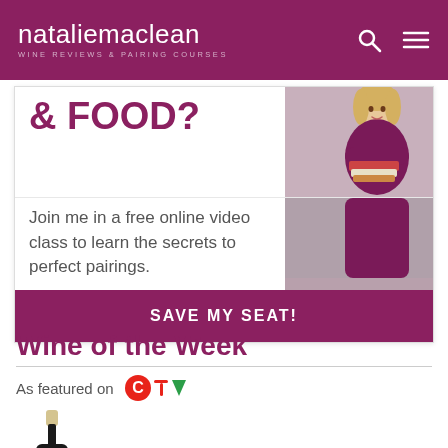nataliemaclean WINE REVIEWS & PAIRING COURSES
[Figure (infographic): Promotional banner: '& FOOD?' heading in purple, woman in purple top holding books, text 'Join me in a free online video class to learn the secrets to perfect pairings.' with 'SAVE MY SEAT!' button]
Wine of the Week
As featured on CTV
[Figure (photo): Wine bottle (dark, with beige cap) on the left side]
Ivory & Burt Red